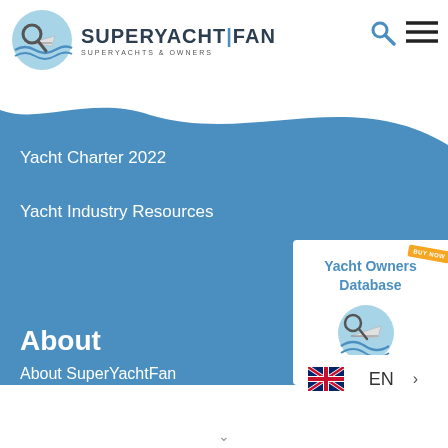[Figure (logo): SuperYachtFan logo with magnifying glass over yacht and waves, with text SUPERYACHT|FAN and SUPERYACHTS & OWNERS]
[Figure (illustration): Search icon (magnifying glass) and hamburger menu icon in top right header]
Yacht Charter 2022
Yacht Industry Resources
[Figure (illustration): Yacht Owners Database promotional box with magnifying glass logo and BUY NOW badge]
About
About SuperYachtFan
Investigative Journalism
[Figure (illustration): English language selector showing UK flag and EN text with arrow]